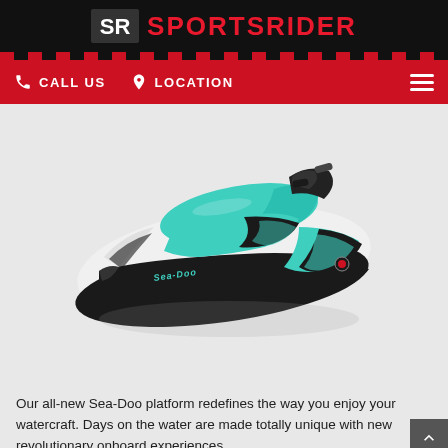SR SPORTSRIDER
CALL US  LOCATION
[Figure (photo): A Sea-Doo personal watercraft/jet ski in teal/turquoise and black/white color scheme, shown from a 3/4 front-top angle against a light grey background.]
Our all-new Sea-Doo platform redefines the way you enjoy your watercraft. Days on the water are made totally unique with new revolutionary onboard experiences.